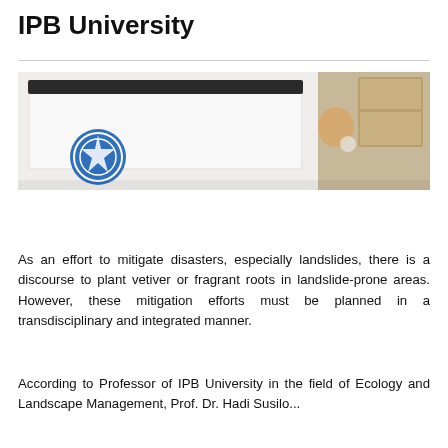IPB University
[Figure (photo): A photograph showing a presentation screen with an IPB University logo (blue circular emblem) on the left side, and a partial view of a person and wooden shelving unit visible on the right side.]
As an effort to mitigate disasters, especially landslides, there is a discourse to plant vetiver or fragrant roots in landslide-prone areas. However, these mitigation efforts must be planned in a transdisciplinary and integrated manner.
According to Professor of IPB University in the field of Ecology and Landscape Management, Prof. Dr. Hadi Susilo...